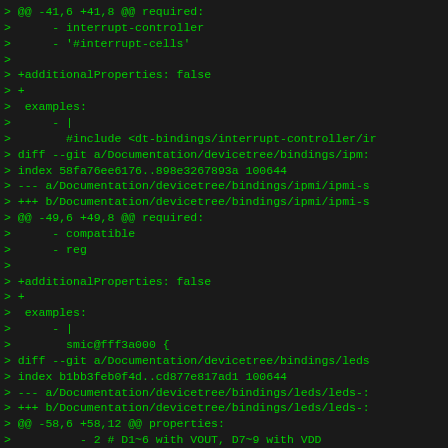Diff/patch output showing changes to Linux kernel devicetree binding YAML files for interrupt controllers, IPMI, and LEDs